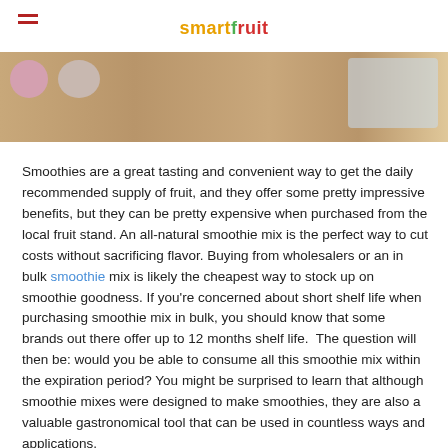smartfruit
[Figure (photo): Banner photo showing a wooden surface with smoothie-related items including round pink/beige spheres and a light blue rectangular container in the background.]
Smoothies are a great tasting and convenient way to get the daily recommended supply of fruit, and they offer some pretty impressive benefits, but they can be pretty expensive when purchased from the local fruit stand. An all-natural smoothie mix is the perfect way to cut costs without sacrificing flavor. Buying from wholesalers or an in bulk smoothie mix is likely the cheapest way to stock up on smoothie goodness. If you're concerned about short shelf life when purchasing smoothie mix in bulk, you should know that some brands out there offer up to 12 months shelf life. The question will then be: would you be able to consume all this smoothie mix within the expiration period? You might be surprised to learn that although smoothie mixes were designed to make smoothies, they are also a valuable gastronomical tool that can be used in countless ways and applications.